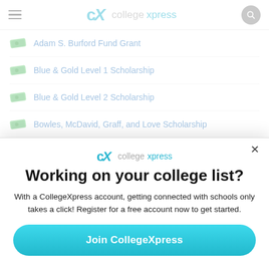CollegeXpress
Adam S. Burford Fund Grant
Blue & Gold Level 1 Scholarship
Blue & Gold Level 2 Scholarship
Bowles, McDavid, Graff, and Love Scholarship
Bucklew Scholarship
[Figure (screenshot): CollegeXpress modal popup with logo, headline 'Working on your college list?', body text, and Join CollegeXpress button]
Working on your college list?
With a CollegeXpress account, getting connected with schools only takes a click! Register for a free account now to get started.